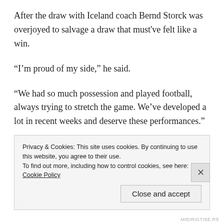After the draw with Iceland coach Bernd Storck was overjoyed to salvage a draw that must've felt like a win.
“I’m proud of my side,” he said.
“We had so much possession and played football, always trying to stretch the game. We’ve developed a lot in recent weeks and deserve these performances.”
“Iceland have a lot of experience – that’s why it was difficult for us. Considering their results in qualifying against the Czech Republic, Netherlands and Turkey,
Privacy & Cookies: This site uses cookies. By continuing to use this website, you agree to their use.
To find out more, including how to control cookies, see here: Cookie Policy
Close and accept